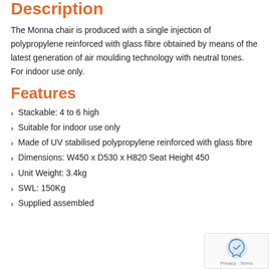Description
The Monna chair is produced with a single injection of polypropylene reinforced with glass fibre obtained by means of the latest generation of air moulding technology with neutral tones. For indoor use only.
Features
Stackable: 4 to 6 high
Suitable for indoor use only
Made of UV stabilised polypropylene reinforced with glass fibre
Dimensions: W450 x D530 x H820 Seat Height 450
Unit Weight: 3.4kg
SWL: 150Kg
Supplied assembled